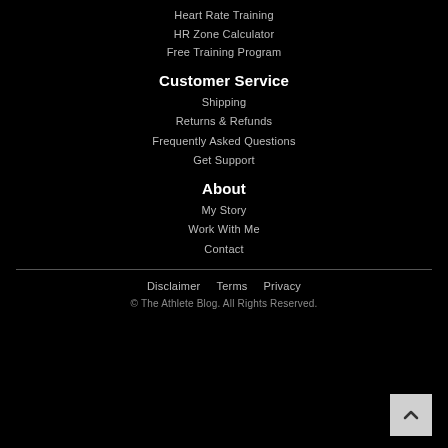Heart Rate Training
HR Zone Calculator
Free Training Program
Customer Service
Shipping
Returns & Refunds
Frequently Asked Questions
Get Support
About
My Story
Work With Me
Contact
Disclaimer   Terms   Privacy
© The Athlete Blog. All Rights Reserved.